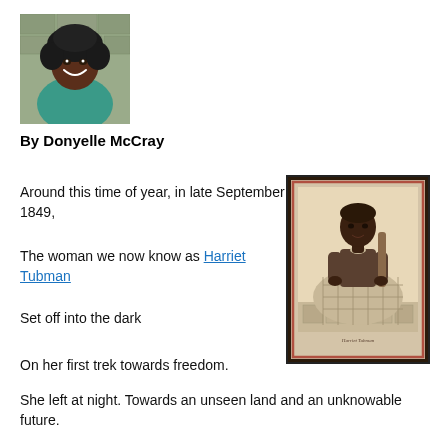[Figure (photo): Headshot photo of author Donyelle McCray, a smiling woman with curly black hair wearing a teal/green top, outdoors near a stone wall]
By Donyelle McCray
Around this time of year, in late September 1849,
[Figure (photo): Historical sepia-toned photograph of Harriet Tubman seated, wearing a plaid dress, with a red border on the card mount]
The woman we now know as Harriet Tubman
Set off into the dark
On her first trek towards freedom.
She left at night. Towards an unseen land and an unknowable future.